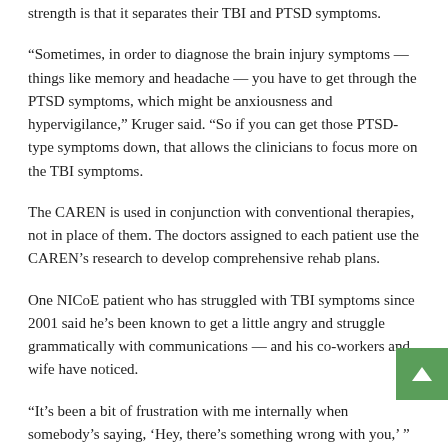strength is that it separates their TBI and PTSD symptoms.
“Sometimes, in order to diagnose the brain injury symptoms — things like memory and headache — you have to get through the PTSD symptoms, which might be anxiousness and hypervigilance,” Kruger said. “So if you can get those PTSD-type symptoms down, that allows the clinicians to focus more on the TBI symptoms.
The CAREN is used in conjunction with conventional therapies, not in place of them. The doctors assigned to each patient use the CAREN’s research to develop comprehensive rehab plans.
One NICoE patient who has struggled with TBI symptoms since 2001 said he’s been known to get a little angry and struggle grammatically with communications — and his co-workers and wife have noticed.
“It’s been a bit of frustration with me internally when somebody’s saying, ‘Hey, there’s something wrong with you,’ ” said the 21-year active-duty service member, who didn’t want to be identified.
His doctors recommended he go to NICoE to get some answers. On